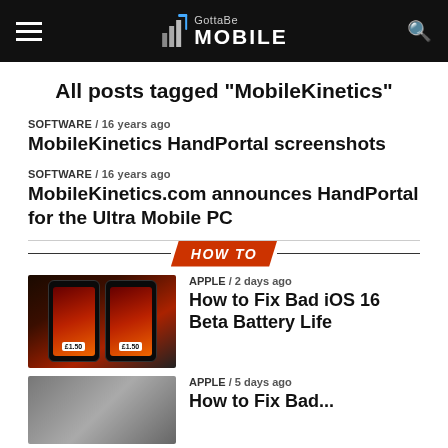GottaBe Mobile
All posts tagged "MobileKinetics"
SOFTWARE / 16 years ago
MobileKinetics HandPortal screenshots
SOFTWARE / 16 years ago
MobileKinetics.com announces HandPortal for the Ultra Mobile PC
HOW TO
APPLE / 2 days ago
How to Fix Bad iOS 16 Beta Battery Life
APPLE / 5 days ago
How to Fix Bad...